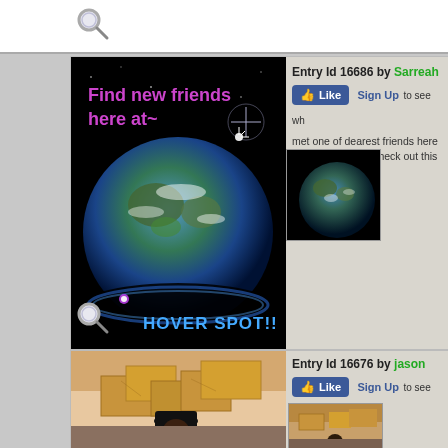[Figure (screenshot): Magnifier icon at top of page]
[Figure (screenshot): Entry card showing space/earth themed image with text 'Find new friends here at~' and 'HOVER SPOT!!' with magnifier icon]
Entry Id 16686 by Sarreah
Like  Sign Up to see wh
met one of dearest friends here Everyone should check out this
[Figure (photo): Thumbnail of Earth from space]
Entry Id 16676 by jason
Like  Sign Up to see wh
Hey
[Figure (photo): Selfie photo of person with boxes in background]
[Figure (photo): Thumbnail of selfie photo]